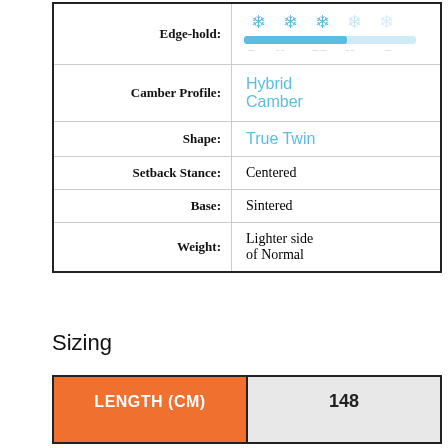| Attribute | Value |
| --- | --- |
| Edge-hold: | [rating bar] |
| Camber Profile: | Hybrid Camber |
| Shape: | True Twin |
| Setback Stance: | Centered |
| Base: | Sintered |
| Weight: | Lighter side of Normal |
Sizing
| LENGTH (CM) | 148 |
| --- | --- |
|  |  |